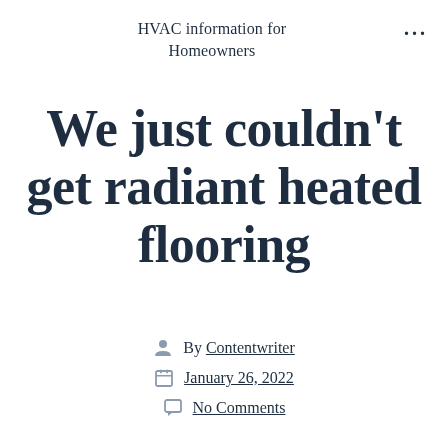HVAC information for Homeowners
We just couldn't get radiant heated flooring
By Contentwriter
January 26, 2022
No Comments